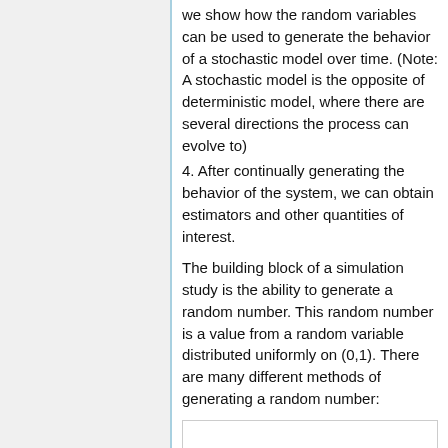we show how the random variables can be used to generate the behavior of a stochastic model over time. (Note: A stochastic model is the opposite of deterministic model, where there are several directions the process can evolve to)
4. After continually generating the behavior of the system, we can obtain estimators and other quantities of interest.
The building block of a simulation study is the ability to generate a random number. This random number is a value from a random variable distributed uniformly on (0,1). There are many different methods of generating a random number: